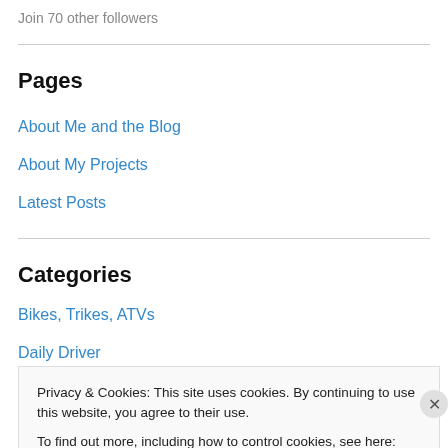Join 70 other followers
Pages
About Me and the Blog
About My Projects
Latest Posts
Categories
Bikes, Trikes, ATVs
Daily Driver
Privacy & Cookies: This site uses cookies. By continuing to use this website, you agree to their use. To find out more, including how to control cookies, see here: Cookie Policy
Close and accept